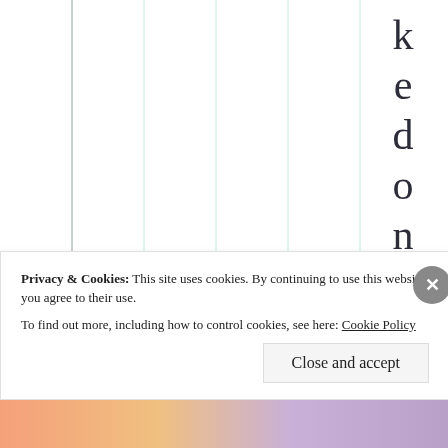[Figure (other): Table or grid with vertical column lines and rotated text on the right side reading 'kedon“Home”' vertically, one character per row]
Privacy & Cookies: This site uses cookies. By continuing to use this website, you agree to their use.
To find out more, including how to control cookies, see here: Cookie Policy
Close and accept